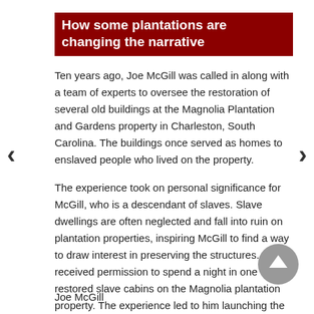How some plantations are changing the narrative
Ten years ago, Joe McGill was called in along with a team of experts to oversee the restoration of several old buildings at the Magnolia Plantation and Gardens property in Charleston, South Carolina. The buildings once served as homes to enslaved people who lived on the property.
The experience took on personal significance for McGill, who is a descendant of slaves. Slave dwellings are often neglected and fall into ruin on plantation properties, inspiring McGill to find a way to draw interest in preserving the structures. He received permission to spend a night in one of the restored slave cabins on the Magnolia plantation property. The experience led to him launching the Slave Dwelling Project.
Joe McGill